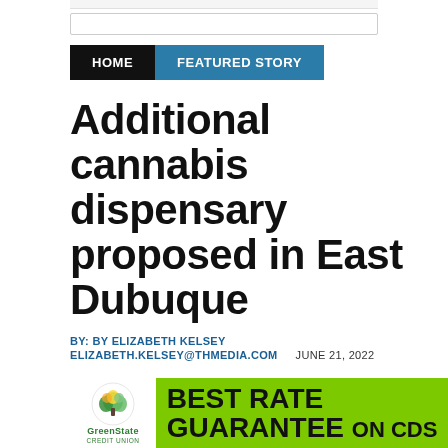HOME | FEATURED STORY
Additional cannabis dispensary proposed in East Dubuque
BY: BY ELIZABETH KELSEY
ELIZABETH.KELSEY@THMEDIA.COM   JUNE 21, 2022
EAST DUBUQUE, Ill. — East Dubuque City Council members on Monday got their first look at plans for a new cannabis dispensary proposed close form... area...
[Figure (logo): GreenState Credit Union logo with green tree/leaf icon]
[Figure (infographic): Advertisement banner: BEST RATE GUARANTEE ON CDs on green background]